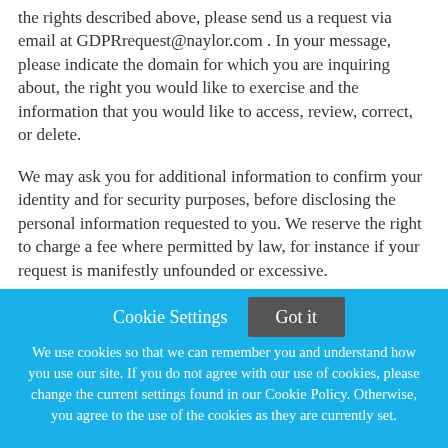the rights described above, please send us a request via email at GDPRrequest@naylor.com . In your message, please indicate the domain for which you are inquiring about, the right you would like to exercise and the information that you would like to access, review, correct, or delete.
We may ask you for additional information to confirm your identity and for security purposes, before disclosing the personal information requested to you. We reserve the right to charge a fee where permitted by law, for instance if your request is manifestly unfounded or excessive.
We may not always be able to fully address your request, for example if it would impact the duty of confidentiality we owe
Cookie Settings
Got it
We use cookies so that we can remember you and understand how you use our site. If you do not agree with our use of cookies, please change the current settings found in our Cookie Policy. Otherwise, you agree to the use of the cookies as they are currently set.